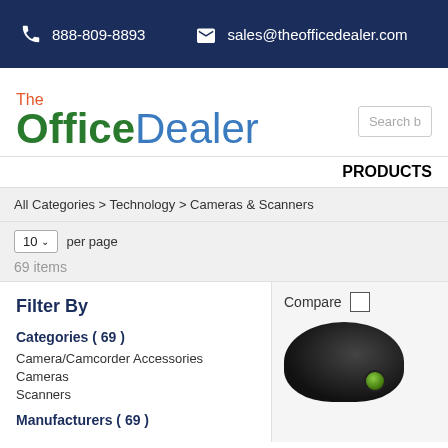888-809-8893  sales@theofficedealer.com
[Figure (logo): The Office Dealer logo with orange 'The', green 'Office', blue 'Dealer' text]
PRODUCTS
All Categories > Technology > Cameras & Scanners
10 per page
69 items
Filter By
Categories ( 69 )
Camera/Camcorder Accessories
Cameras
Scanners
Manufacturers ( 69 )
Compare